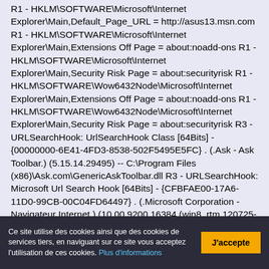R1 - HKLM\SOFTWARE\Microsoft\Internet Explorer\Main,Default_Page_URL = http://asus13.msn.com
R1 - HKLM\SOFTWARE\Microsoft\Internet Explorer\Main,Extensions Off Page = about:noadd-ons
R1 - HKLM\SOFTWARE\Microsoft\Internet Explorer\Main,Security Risk Page = about:securityrisk
R1 - HKLM\SOFTWARE\Wow6432Node\Microsoft\Internet Explorer\Main,Extensions Off Page = about:noadd-ons
R1 - HKLM\SOFTWARE\Wow6432Node\Microsoft\Internet Explorer\Main,Security Risk Page = about:securityrisk
R3 - URLSearchHook: UrlSearchHook Class [64Bits] - {00000000-6E41-4FD3-8538-502F5495E5FC} . (.Ask - Ask Toolbar.) (5.15.14.29495) -- C:\Program Files (x86)\Ask.com\GenericAskToolbar.dll
R3 - URLSearchHook: Microsoft Url Search Hook [64Bits] - {CFBFAE00-17A6-11D0-99CB-00C04FD64497} . (.Microsoft Corporation - Navigateur Internet.) (10.00.9200.16384 (win8_rtm.120725-1247)) -- C:\Windows\SysWOW64\ieframe.dll
R3 - URLSearchHook: Video Clip Grab Toolbar [64Bits] -
Ce site utilise des cookies ainsi que des cookies de services tiers, en naviguant sur ce site vous acceptez l'utilisation de ces cookies. Plus d'informations